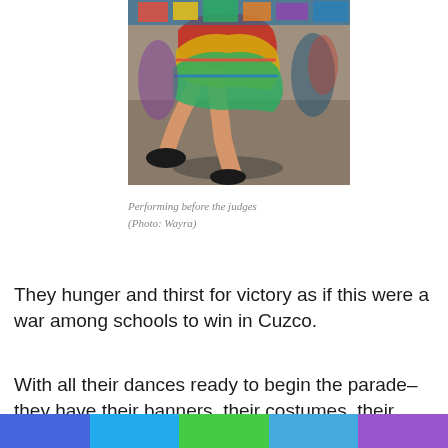[Figure (photo): Dancers in colorful traditional costumes performing, legs and skirts visible, taken from a low angle on a paved surface]
Performing before the judges (Photo: Wayra)
They hunger and thirst for victory as if this were a war among schools to win in Cuzco.
With all their dances ready to begin the parade–they have their banners, their costumes, their musicians and all the students